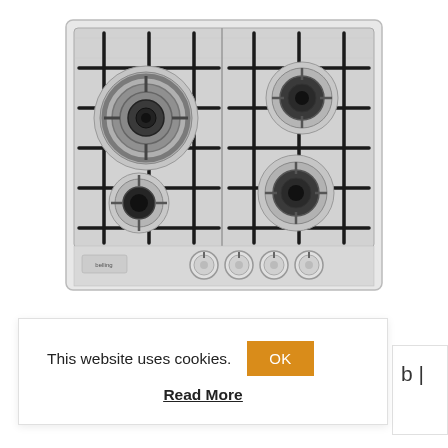[Figure (photo): Belling stainless steel 4-burner gas hob with cast iron pan supports and 4 control knobs at the front. One large wok burner on the top-left, one semi-rapid burner on the top-right, one auxiliary burner on the bottom-left, and one rapid burner on the bottom-right. Belling logo on the bottom-left of the appliance.]
This website uses cookies.
OK
Read More
b |